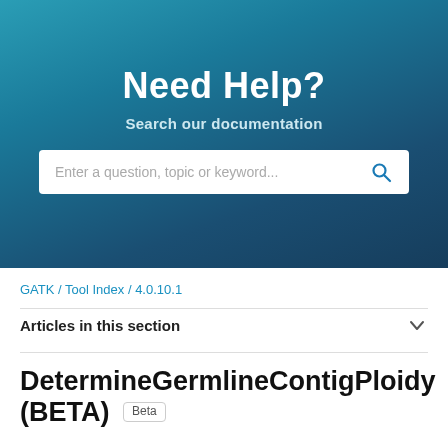[Figure (screenshot): Hero banner with teal-to-dark-blue gradient background, 'Need Help?' title, 'Search our documentation' subtitle, and a white search input box with placeholder text and search icon]
GATK / Tool Index / 4.0.10.1
Articles in this section
DetermineGermlineContigPloidy (BETA)